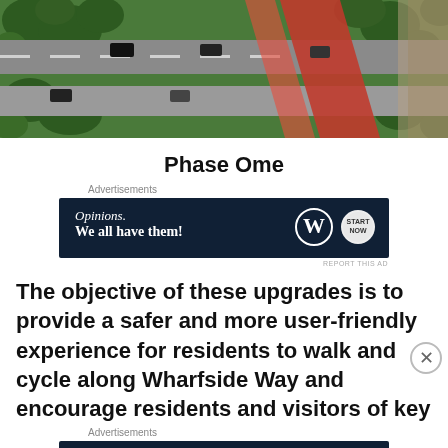[Figure (photo): Aerial view of a road intersection with red cycle lanes marked on the road, surrounded by green trees and parked/moving cars]
Phase Ome
Advertisements
[Figure (other): Advertisement banner: Opinions. We all have them! with WordPress and Start Now logos on dark navy background]
REPORT THIS AD
The objective of these upgrades is to provide a safer and more user-friendly experience for residents to walk and cycle along Wharfside Way and encourage residents and visitors of key
Advertisements
[Figure (other): Advertisement banner: Opinions. We all have them! with WordPress and Start Now logos on dark navy background]
REPORT THIS AD